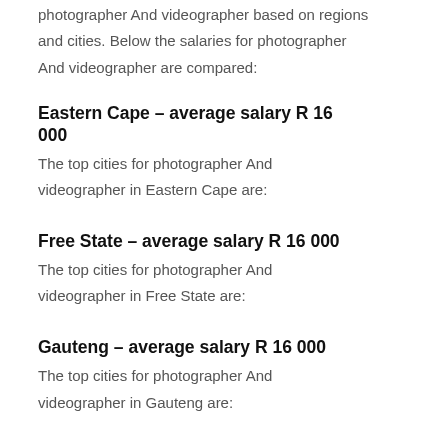photographer And videographer based on regions and cities. Below the salaries for photographer And videographer are compared:
Eastern Cape – average salary R 16 000
The top cities for photographer And videographer in Eastern Cape are:
Free State – average salary R 16 000
The top cities for photographer And videographer in Free State are:
Gauteng – average salary R 16 000
The top cities for photographer And videographer in Gauteng are: